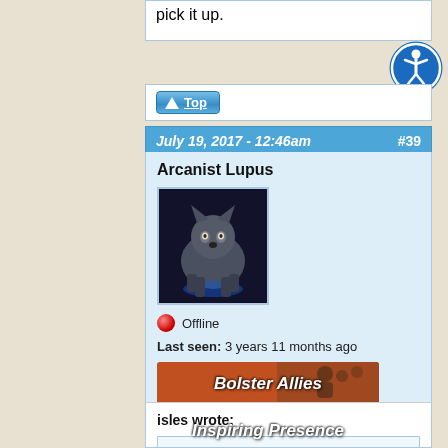pick it up.
↑ Top
July 19, 2017 - 12:46am  #39
Arcanist Lupus
[Figure (photo): Avatar image of a wolf against a dark background]
🔴 Offline
Last seen: 3 years 11 months ago
[Figure (illustration): Bolster Allies badge/banner with orange background]
[Figure (illustration): Inspiring Presence badge/banner with blue background]
Joined: Dec 06, 2013
isles wrote: